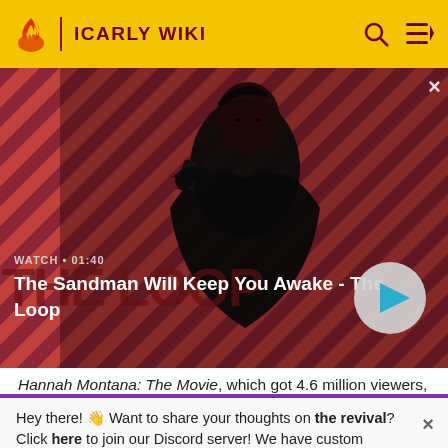ICARLY WIKI
[Figure (screenshot): Video thumbnail showing a dark figure (man in black cape with a raven on his shoulder) against a red diagonal striped background. Title overlay reads 'The Sandman Will Keep You Awake - The Loop' with WATCH • 01:40 label and a play button.]
Hannah Montana: The Movie, which got 4.6 million viewers, and the opening night of Harry Potter and
Hey there! 👋 Want to share your thoughts on the revival? Click here to join our Discord server! We have custom emotes, fun bots, quizzes and more. 🎉